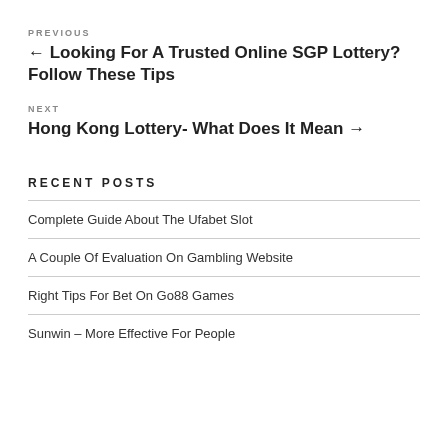PREVIOUS
← Looking For A Trusted Online SGP Lottery? Follow These Tips
NEXT
Hong Kong Lottery- What Does It Mean →
RECENT POSTS
Complete Guide About The Ufabet Slot
A Couple Of Evaluation On Gambling Website
Right Tips For Bet On Go88 Games
Sunwin – More Effective For People